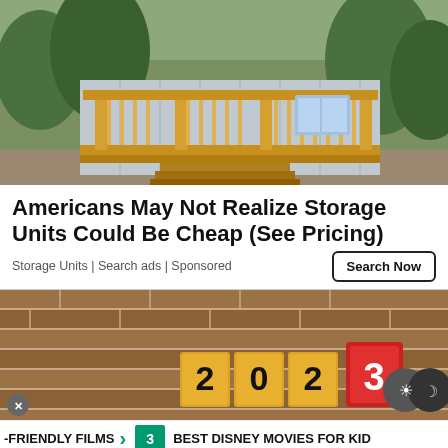[Figure (photo): Photo of a small prefab/storage unit building with wooden porch and grey siding, surrounded by trees and gravel.]
Americans May Not Realize Storage Units Could Be Cheap (See Pricing)
Storage Units | Search ads | Sponsored
Search Now
[Figure (photo): Photo showing number blocks spelling '2023' with yellow and red blocks on a brick background, with moon/dark mode toggle icons.]
-FRIENDLY FILMS  3  BEST DISNEY MOVIES FOR KID
17  17 SHARES